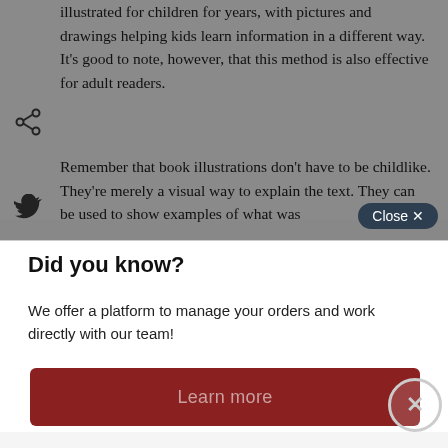illustrated for children for years, with pictures and drawings helping kids learn information in a different way. It's good to note, however, that this method is also effective for adult readers.
Remember that book illustrations don't have to be childlike. They're merely a visual way to explain the text. They can be used to show examples of what was
Did you know?
We offer a platform to manage your orders and work directly with our team!